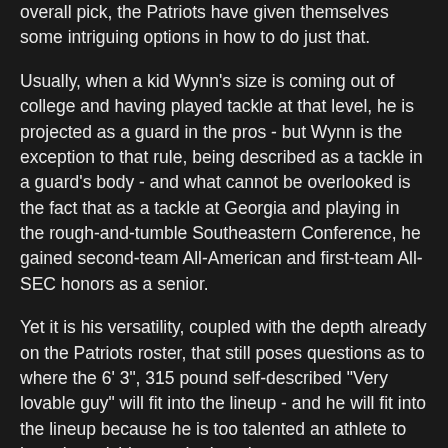overall pick, the Patriots have given themselves some intriguing options in how to do just that.
Usually, when a kid Wynn's size is coming out of college and having played tackle at that level, he is projected as a guard in the pros - but Wynn is the exception to that rule, being described as a tackle in a guard's body - and what cannot be overlooked is the fact that as a tackle at Georgia and playing in the rough-and-tumble Southeastern Conference, he gained second-team All-American and first-team All-SEC honors as a senior.
Yet it is his versatility, coupled with the depth already on the Patriots roster, that still poses questions as to where the 6' 3", 315 pound self-described "Very lovable guy" will fit into the lineup - and he will fit into the lineup because he is too talented an athlete to have languishing on the bench.
At left tackle, New England already has last season's selection of Antonio Garcia yet to see any playing time and swing tackle LaAdrian Waddle already on the depth chart, though Garcia is a huge question mark for the 2018 season